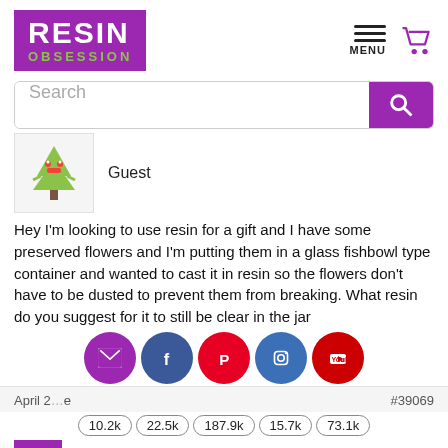[Figure (logo): Resin Obsession logo with purple background, white RESIN text and green OBSESSION text]
[Figure (illustration): Menu hamburger icon with MENU label and purple shopping cart icon]
[Figure (screenshot): Search bar with purple search button]
[Figure (illustration): Guest avatar showing a cartoon Christmas tree character]
Guest
Hey I'm looking to use resin for a gift and I have some preserved flowers and I'm putting them in a glass fishbowl type container and wanted to cast it in resin so the flowers don't have to be dusted to prevent them from breaking. What resin do you suggest for it to still be clear in the jar
April 2... #39069
[Figure (infographic): Social share icons: email (purple), Facebook (blue), Pinterest (red), Instagram (blue), YouTube (red) with counts 10.2k, 22.5k, 187.9k, 15.7k, 73.1k]
Katherine Swift
[Figure (logo): Resin Obsession small logo with green chat badge]
Keymaster